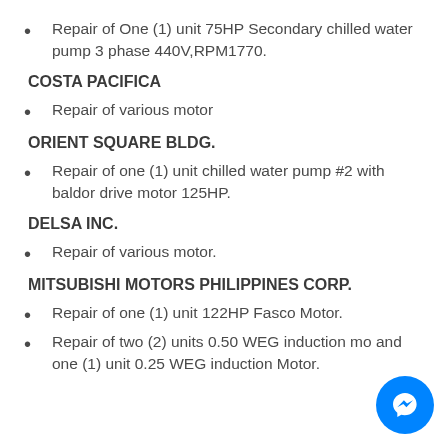Repair of One (1) unit 75HP Secondary chilled water pump 3 phase 440V,RPM1770.
COSTA PACIFICA
Repair of various motor
ORIENT SQUARE BLDG.
Repair of one (1) unit chilled water pump #2 with baldor drive motor 125HP.
DELSA INC.
Repair of various motor.
MITSUBISHI MOTORS PHILIPPINES CORP.
Repair of one (1) unit 122HP Fasco Motor.
Repair of two (2) units 0.50 WEG induction mo and one (1) unit 0.25 WEG induction Motor.